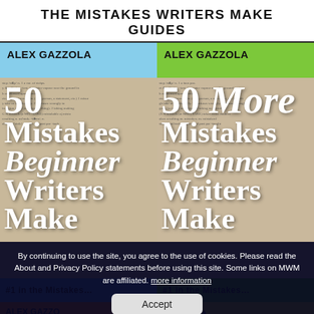THE MISTAKES WRITERS MAKE GUIDES
[Figure (photo): Two book covers by Alex Gazzola: '50 Mistakes Beginner Writers Make' (blue background) and '50 More Mistakes Beginner Writers Make' (green background), both showing dictionary page backgrounds with large white serif text.]
By continuing to use the site, you agree to the use of cookies. Please read the About and Privacy Policy statements before using this site. Some links on MWM are affiliated. more information
Accept